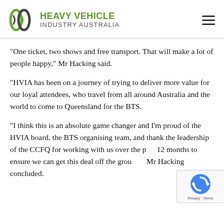Heavy Vehicle Industry Australia
“One ticket, two shows and free transport.  That will make a lot of people happy,” Mr Hacking said.
“HVIA has been on a journey of trying to deliver more value for our loyal attendees, who travel from all around Australia and the world to come to Queensland for the BTS.
“I think this is an absolute game changer and I’m proud of the HVIA board, the BTS organising team, and thank the leadership of the CCFQ for working with us over the past 12 months to ensure we can get this deal off the ground,” Mr Hacking concluded.